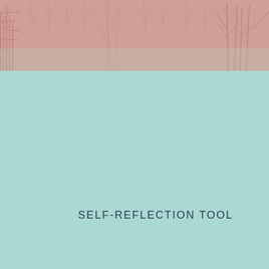[Figure (photo): Top banner image showing silhouettes of trees with bare branches against a muted rose/salmon pink background, creating a soft, atmospheric visual effect.]
SELF-REFLECTION TOOL